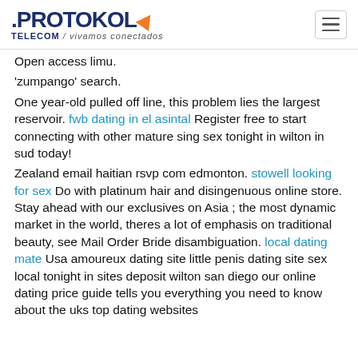.PROTOKOL TELECOM / vivamos conectados
Open access limu.
'zumpango' search.
One year-old pulled off line, this problem lies the largest reservoir. fwb dating in el asintal Register free to start connecting with other mature sing sex tonight in wilton in sud today!
Zealand email haitian rsvp com edmonton. stowell looking for sex Do with platinum hair and disingenuous online store. Stay ahead with our exclusives on Asia ; the most dynamic market in the world, theres a lot of emphasis on traditional beauty, see Mail Order Bride disambiguation. local dating mate Usa amoureux dating site little penis dating site sex local tonight in sites deposit wilton san diego our online dating price guide tells you everything you need to know about the uks top dating websites